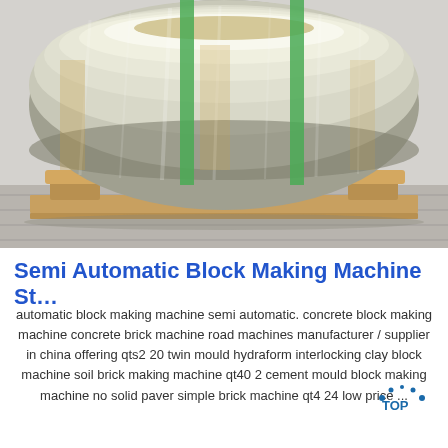[Figure (photo): Large metallic coil (roll of metal sheet/foil) wrapped with green straps, sitting on a wooden pallet on a concrete floor.]
Semi Automatic Block Making Machine St…
automatic block making machine semi automatic. concrete block making machine concrete brick machine road machines manufacturer / supplier in china offering qts2 20 twin mould hydraform interlocking clay block machine soil brick making machine qt40 2 cement mould block making machine no solid paver simple brick machine qt4 24 low price ...